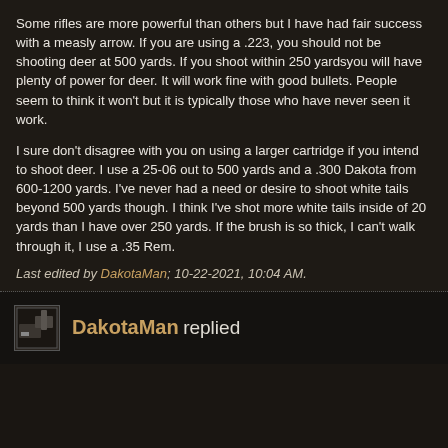Some rifles are more powerful than others but I have had fair success with a measly arrow. If you are using a .223, you should not be shooting deer at 500 yards. If you shoot within 250 yardsyou will have plenty of power for deer. It will work fine with good bullets. People seem to think it won't but it is typically those who have never seen it work.

I sure don't disagree with you on using a larger cartridge if you intend to shoot deer. I use a 25-06 out to 500 yards and a .300 Dakota from 600-1200 yards. I've never had a need or desire to shoot white tails beyond 500 yards though. I think I've shot more white tails inside of 20 yards than I have over 250 yards. If the brush is so thick, I can't walk through it, I use a .35 Rem.
Last edited by DakotaMan; 10-22-2021, 10:04 AM.
DakotaMan replied